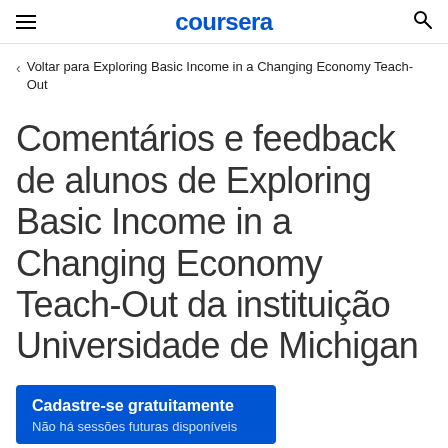coursera
Voltar para Exploring Basic Income in a Changing Economy Teach-Out
Comentários e feedback de alunos de Exploring Basic Income in a Changing Economy Teach-Out da instituição Universidade de Michigan
Cadastre-se gratuitamente
Não há sessões futuras disponíveis